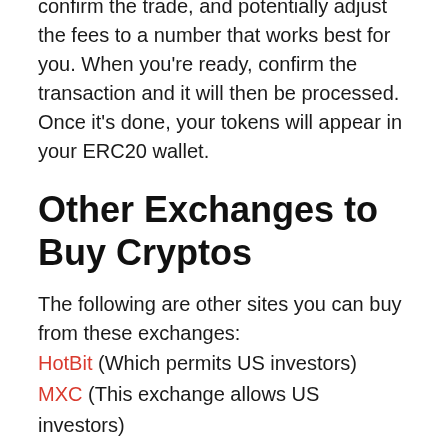Your wallet click will then prompt you to confirm the trade, and potentially adjust the fees to a number that works best for you. When you're ready, confirm the transaction and it will then be processed. Once it's done, your tokens will appear in your ERC20 wallet.
Other Exchanges to Buy Cryptos
The following are other sites you can buy from these exchanges:
HotBit (Which permits US investors)
MXC (This exchange allows US investors)
Bilaxy
OKEx
Huobi Global
On top of the above-listed exchanges, there